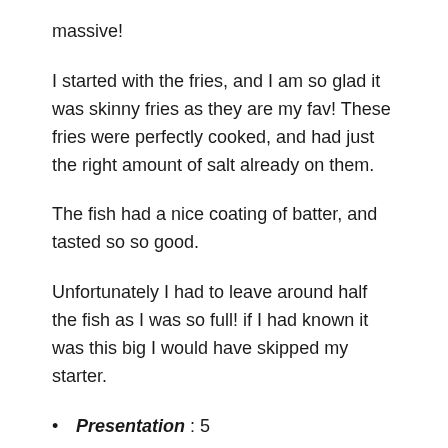massive!
I started with the fries, and I am so glad it was skinny fries as they are my fav! These fries were perfectly cooked, and had just the right amount of salt already on them.
The fish had a nice coating of batter, and tasted so so good.
Unfortunately I had to leave around half the fish as I was so full! if I had known it was this big I would have skipped my starter.
Presentation : 5
Flavour : 5